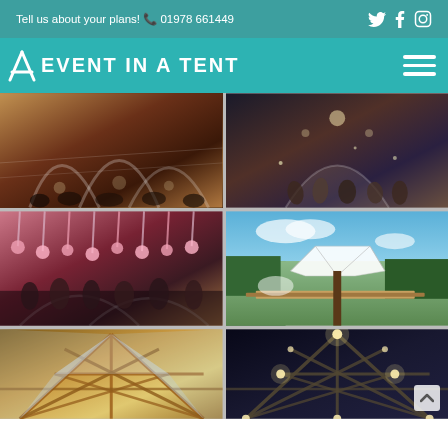Tell us about your plans! 📞 01978 661449
EVENT IN A TENT
[Figure (photo): Interior of a geodesic dome tent set up for an event with people dining at decorated tables under arch structures]
[Figure (photo): People dancing and celebrating inside a decorated tent event venue at night]
[Figure (photo): Floral decorations hanging from tent ceiling above a crowded event with arch structures]
[Figure (photo): Outdoor white geometric diamond-shaped tent structure in a natural setting with blue sky]
[Figure (photo): Interior of geodesic dome tent showing wooden triangular frame structure in daylight]
[Figure (photo): Interior of geodesic dome tent at night with string lights illuminating the triangular wooden frame]